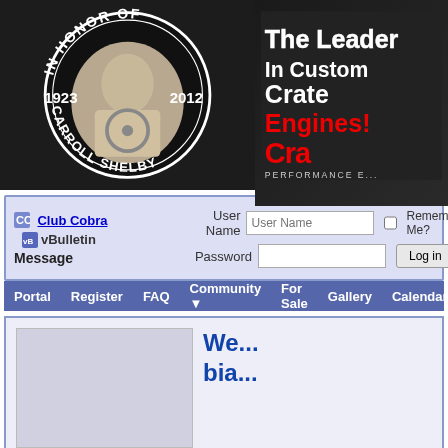[Figure (illustration): Circular black badge reading 'IN HONOR OF CARROLL SHELBY' with dates 1923 and 2012, featuring a photo of Carroll Shelby at a steering wheel]
[Figure (illustration): Advertisement banner for Crate Performance Engines reading 'The Leader In Custom Crate Engines!' with 'Cra...' (Crate) logo on dark carbon fiber background]
[Figure (screenshot): Login form area: Club Cobra / vBulletin Message with User Name and Password fields, Remember Me checkbox, and Log in button]
[Figure (screenshot): Navigation bar with links: Portal, Register, FAQ, Community, For Sale, Gallery, Calendar, Toda...]
We... bia...
[Figure (screenshot): Content area partially visible, showing a gray box on left and partial blue text 'We... bia...' on right]